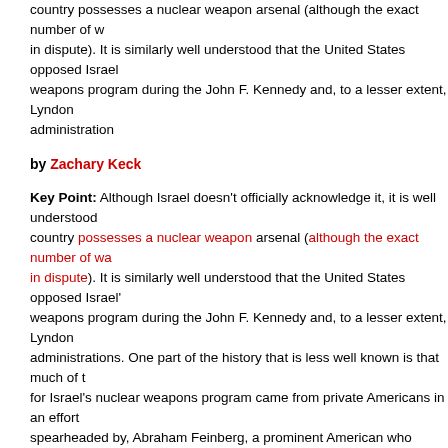country possesses a nuclear weapon arsenal (although the exact number of w… in dispute). It is similarly well understood that the United States opposed Israel… weapons program during the John F. Kennedy and, to a lesser extent, Lyndon … administration
by Zachary Keck
Key Point: Although Israel doesn't officially acknowledge it, it is well understood… country possesses a nuclear weapon arsenal (although the exact number of wa… in dispute). It is similarly well understood that the United States opposed Israel'… weapons program during the John F. Kennedy and, to a lesser extent, Lyndon … administrations. One part of the history that is less well known is that much of t… for Israel's nuclear weapons program came from private Americans in an effort… spearheaded by, Abraham Feinberg, a prominent American who served as an … advisor to both President Kennedy and President Johnson.
[...]
Specifically, during the mid-1950s France's control over Algeria—which it consi… of France and not just another colony—was increasingly contested by a domes… insurgency that was receiving substantial support from the Egyptian leader Gamal Abdel Nasser. Paris responded by eliciting Israel's help in providi… intelligence on the Algerian situation in return for French conventional weaponr…
[...]